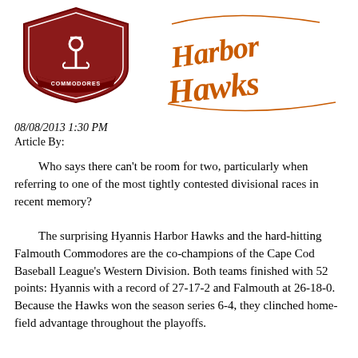[Figure (logo): Falmouth Commodores team logo — red/maroon shield with anchor and 'COMMODORES' text on ribbon banner]
[Figure (logo): Hyannis Harbor Hawks team logo — orange stylized script text reading 'Harbor Hawks']
08/08/2013 1:30 PM
Article By:
Who says there can't be room for two, particularly when referring to one of the most tightly contested divisional races in recent memory?
The surprising Hyannis Harbor Hawks and the hard-hitting Falmouth Commodores are the co-champions of the Cape Cod Baseball League's Western Division. Both teams finished with 52 points: Hyannis with a record of 27-17-2 and Falmouth at 26-18-0. Because the Hawks won the season series 6-4, they clinched home-field advantage throughout the playoffs.